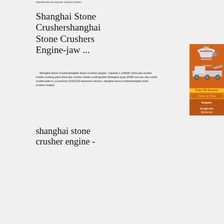manufacturer and exporter of stone crushers ...
Shanghai Stone Crushershanghai Stone Crushers Engine-jaw ...
Shanghai Stone Crushershanghai Stone Crushers Engine. Capacity:1-1000t/h China jaw crusher mobile crushing plant china jaw crusher mobile crushing plant Shanghai dong 10000 tons per day mobile crusher plant in yu province 20181123 keywords solution, shanghai stone crushershanghai stone crushers engine
[Figure (illustration): Orange advertisement sidebar showing industrial stone crusher machinery illustrations with 'Enjoy 3% discount', 'Click to Chat', 'Enquiry', and email contact limingjlmofen@sina.com]
shanghai stone crusher engine -